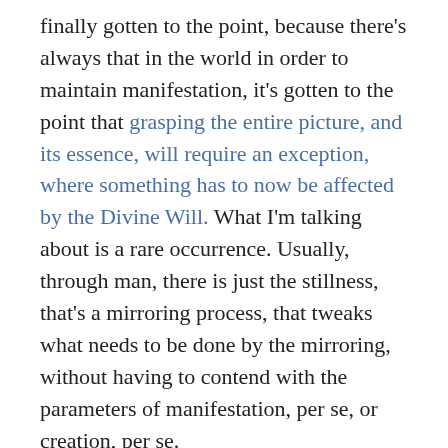finally gotten to the point, because there's always that in the world in order to maintain manifestation, it's gotten to the point that grasping the entire picture, and its essence, will require an exception, where something has to now be affected by the Divine Will. What I'm talking about is a rare occurrence. Usually, through man, there is just the stillness, that's a mirroring process, that tweaks what needs to be done by the mirroring, without having to contend with the parameters of manifestation, per se, or creation, per se.
I guess you could say that this is what, when you take and you actually get to a point where you have caught up with everything except for that darkness, or that little step. That little step, to